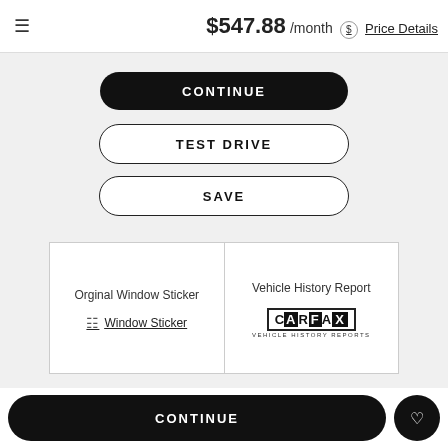$547.88 /month Price Details
CONTINUE
TEST DRIVE
SAVE
Orginal Window Sticker
Window Sticker
Vehicle History Report
[Figure (logo): CARFAX Vehicle History Reports logo]
CONTINUE